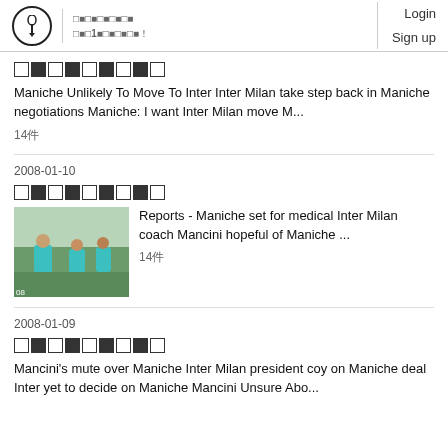Login Sign up
Maniche Unlikely To Move To Inter Inter Milan take step back in Maniche negotiations Maniche: I want Inter Milan move M... 14件
2008-01-10
[Figure (photo): Photo of soccer players in teal/cyan jerseys crouching outdoors]
Reports - Maniche set for medical Inter Milan coach Mancini hopeful of Maniche ... 14件
2008-01-09
Mancini's mute over Maniche Inter Milan president coy on Maniche deal Inter yet to decide on Maniche Mancini Unsure Abo...